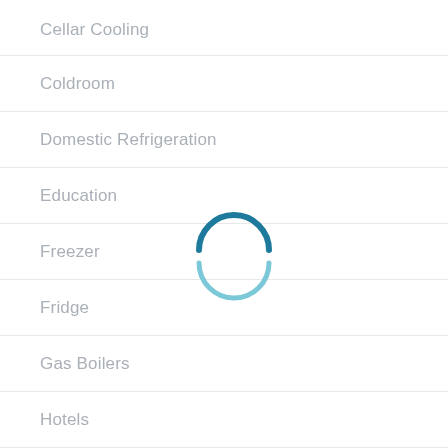Cellar Cooling
Coldroom
Domestic Refrigeration
Education
Freezer
Fridge
Gas Boilers
Hotels
Ice Machines
[Figure (other): Loading spinner animation showing two curved arc segments in teal/blue color, centered on the page]